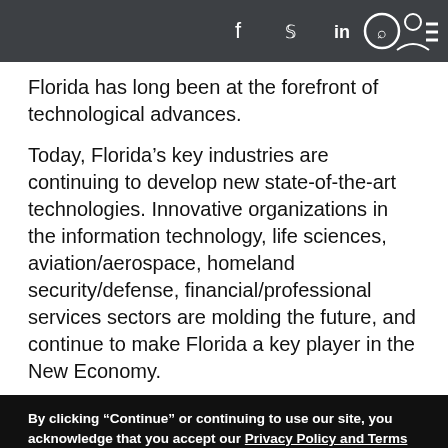Navigation bar with social icons: f (Facebook), Twitter bird, in (LinkedIn), search (circle), user profile, hamburger menu
Florida has long been at the forefront of technological advances.
Today, Florida’s key industries are continuing to develop new state-of-the-art technologies. Innovative organizations in the information technology, life sciences, aviation/aerospace, homeland security/defense, financial/professional services sectors are molding the future, and continue to make Florida a key player in the New Economy.
By clicking “Continue” or continuing to use our site, you acknowledge that you accept our Privacy Policy and Terms of Use. We also use cookies to provide you with the best possible experience on our website. Feel free to check out our policies anytime for more information.
Continue